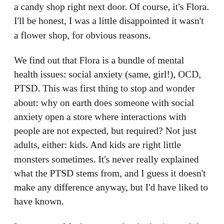a candy shop right next door. Of course, it's Flora. I'll be honest, I was a little disappointed it wasn't a flower shop, for obvious reasons.
We find out that Flora is a bundle of mental health issues: social anxiety (same, girl!), OCD, PTSD. This was first thing to stop and wonder about: why on earth does someone with social anxiety open a store where interactions with people are not expected, but required? Not just adults, either: kids. And kids are right little monsters sometimes. It's never really explained what the PTSD stems from, and I guess it doesn't make any difference anyway, but I'd have liked to have known.
In any case, Mack starts up her barbering and the word starts getting out that she's there, so business picks up fairly quickly. Flora's shop also starts drawing people in, including Mack, who remembers saving her from the dudes in the parking lot that night. Little by little, Mack helps Flora work on her mental health issues (and later in the book, helps convince her to get